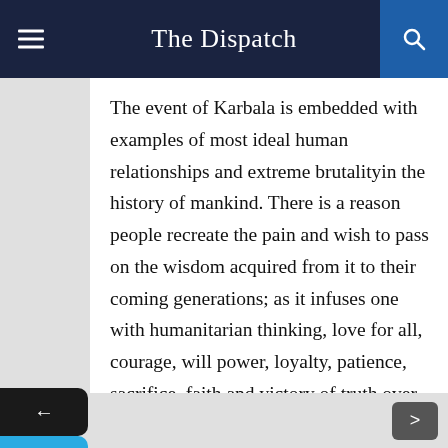The Dispatch
The event of Karbala is embedded with examples of most ideal human relationships and extreme brutalityin the history of mankind. There is a reason people recreate the pain and wish to pass on the wisdom acquired from it to their coming generations; as it infuses one with humanitarian thinking, love for all, courage, will power, loyalty, patience, sacrifice, faith and victory of truth over falsehood. To conclude, Karbala is not